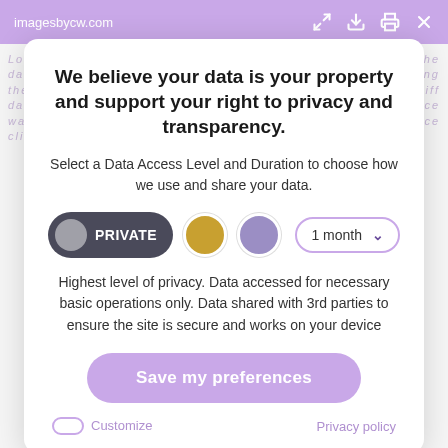imagesbycw.com
We believe your data is your property and support your right to privacy and transparency.
Select a Data Access Level and Duration to choose how we use and share your data.
[Figure (infographic): Row of controls: dark pill button labeled PRIVATE with grey circle, gold dot, purple dot, and a dropdown showing '1 month' with down arrow]
Highest level of privacy. Data accessed for necessary basic operations only. Data shared with 3rd parties to ensure the site is secure and works on your device
Save my preferences
Customize
Privacy policy